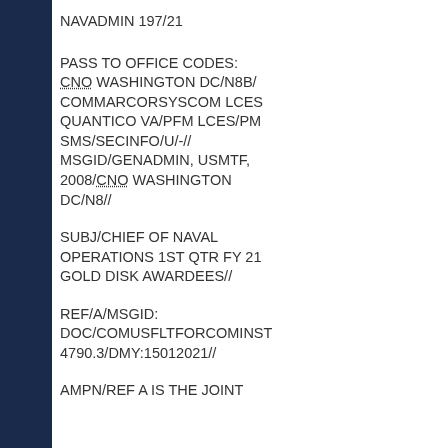NAVADMIN 197/21
PASS TO OFFICE CODES: CNO WASHINGTON DC/N8B/ COMMARCORSYSCOM LCES QUANTICO VA/PFM LCES/PM SMS/SECINFO/U/-// MSGID/GENADMIN, USMTF, 2008/CNO WASHINGTON DC/N8//
SUBJ/CHIEF OF NAVAL OPERATIONS 1ST QTR FY 21 GOLD DISK AWARDEES//
REF/A/MSGID: DOC/COMUSFLTFORCOMINST 4790.3/DMY:15012021//
AMPN/REF A IS THE JOINT